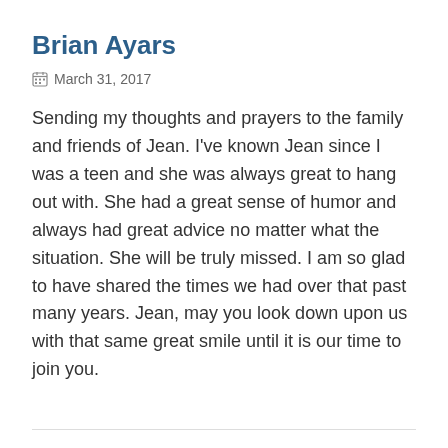Brian Ayars
March 31, 2017
Sending my thoughts and prayers to the family and friends of Jean. I've known Jean since I was a teen and she was always great to hang out with. She had a great sense of humor and always had great advice no matter what the situation. She will be truly missed. I am so glad to have shared the times we had over that past many years. Jean, may you look down upon us with that same great smile until it is our time to join you.